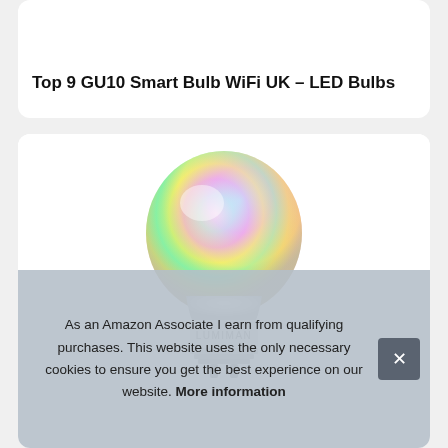Top 9 GU10 Smart Bulb WiFi UK – LED Bulbs
[Figure (photo): A smart LED light bulb with a rainbow/multicolor glow on its spherical head (cyan, magenta, yellow, green tones) and a white plastic base with the brand name LUMIMAN printed on it.]
As an Amazon Associate I earn from qualifying purchases. This website uses the only necessary cookies to ensure you get the best experience on our website. More information